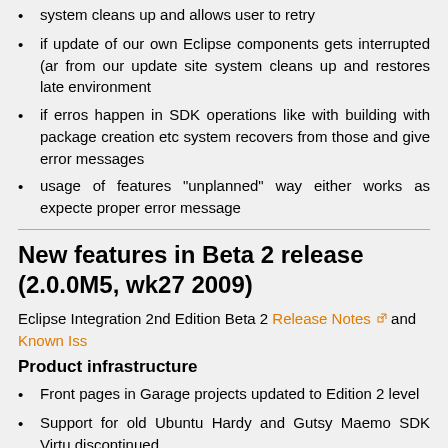system cleans up and allows user to retry
if update of our own Eclipse components gets interrupted (an from our update site system cleans up and restores late environment
if erros happen in SDK operations like with building with package creation etc system recovers from those and give error messages
usage of features "unplanned" way either works as expecte proper error message
New features in Beta 2 release (2.0.0M5, wk27 2009)
Eclipse Integration 2nd Edition Beta 2 Release Notes and Known Iss
Product infrastructure
Front pages in Garage projects updated to Edition 2 level
Support for old Ubuntu Hardy and Gutsy Maemo SDK Virtu discontinued
Beta 2 Maemo PC Connectivity components have been re Frementle extras-devel repository